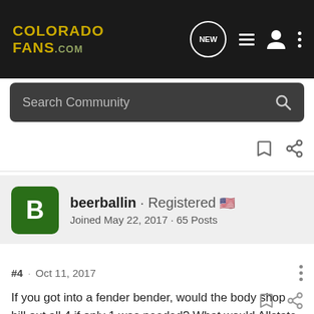COLORADO FANS.COM
Search Community
beerballin · Registered
Joined May 22, 2017 · 65 Posts
#4 · Oct 11, 2017
If you got into a fender bender, would the body shop bill out all 4 if only 1 was needed? What would Allstate do? They would put a keystone part on it!